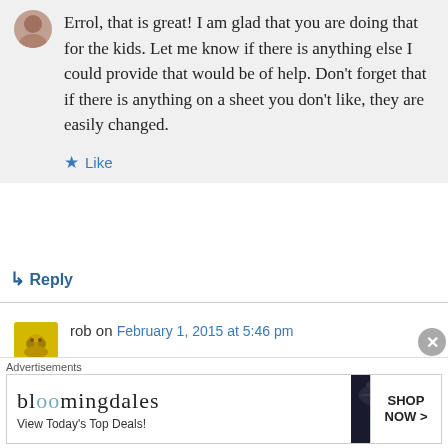Errol, that is great! I am glad that you are doing that for the kids. Let me know if there is anything else I could provide that would be of help. Don't forget that if there is anything on a sheet you don't like, they are easily changed.
★ Like
↳ Reply
rob on February 1, 2015 at 5:46 pm
Just thought I'd chime in to say THANK YOU for
[Figure (other): Bloomingdale's advertisement banner: 'View Today's Top Deals!' with SHOP NOW > button and woman in hat image]